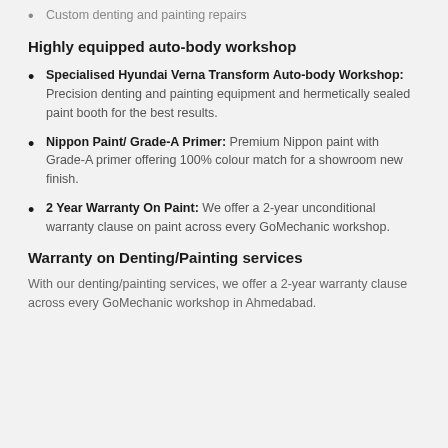Custom denting and painting repairs
Highly equipped auto-body workshop
Specialised Hyundai Verna Transform Auto-body Workshop: Precision denting and painting equipment and hermetically sealed paint booth for the best results.
Nippon Paint/ Grade-A Primer: Premium Nippon paint with Grade-A primer offering 100% colour match for a showroom new finish.
2 Year Warranty On Paint: We offer a 2-year unconditional warranty clause on paint across every GoMechanic workshop.
Warranty on Denting/Painting services
With our denting/painting services, we offer a 2-year warranty clause across every GoMechanic workshop in Ahmedabad.